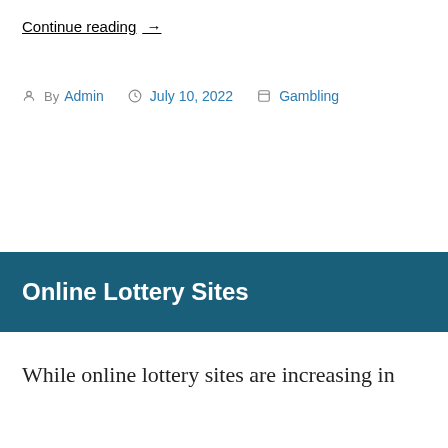Continue reading →
By Admin  July 10, 2022  Gambling
Online Lottery Sites
While online lottery sites are increasing in